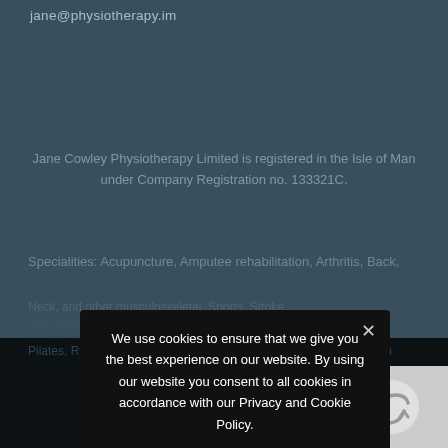jane@physiotherapy.im
Jane Cowley Physiotherapy Limited is registered in the Isle of Man under Company Registration no. 133321C.
Specialities: Acupuncture, Amputee rehabilitation, Arthritis, Back, Neck, and other musculoskeletal, Sports, Stroke, Hip, Knee replacement, Pilates, Rheumatology, Neurological conditions, Treatments of Male and Female Health (INNATE), Neurological (Incl. MS, Stroke, Head Injury, Parkinsons), Vestibular Rehabilitation.
We use cookies to ensure that we give you the best experience on our website. By using our website you consent to all cookies in accordance with our Privacy and Cookie Policy.
Privacy Preferences
I Agree
[Figure (other): reCAPTCHA logo/widget box in bottom right corner]